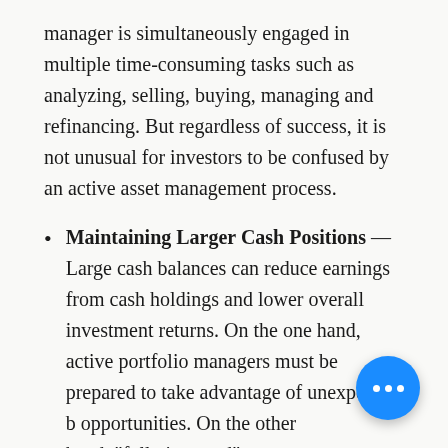manager is simultaneously engaged in multiple time-consuming tasks such as analyzing, selling, buying, managing and refinancing. But regardless of success, it is not unusual for investors to be confused by an active asset management process.
Maintaining Larger Cash Positions — Large cash balances can reduce earnings from cash holdings and lower overall investment returns. On the one hand, active portfolio managers must be prepared to take advantage of unexpected buying opportunities. On the other hand, "fully invested" portfolio…